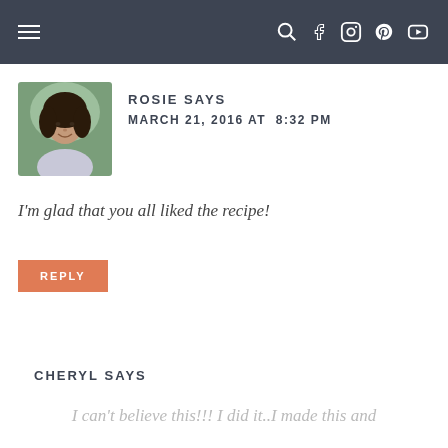Navigation bar with hamburger menu and social icons
[Figure (photo): Avatar photo of Rosie, a woman with curly dark hair outdoors]
ROSIE SAYS
MARCH 21, 2016 AT  8:32 PM
I'm glad that you all liked the recipe!
REPLY
CHERYL SAYS
MARCH 21, 2016 AT  9:52 AM
I can't believe this!!! I did it..I made this and